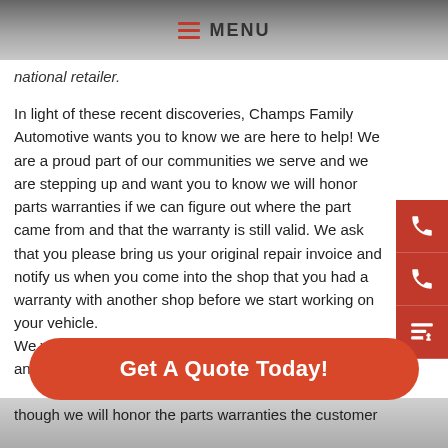MENU
national retailer.
In light of these recent discoveries, Champs Family Automotive wants you to know we are here to help! We are a proud part of our communities we serve and we are stepping up and want you to know we will honor parts warranties if we can figure out where the part came from and that the warranty is still valid. We ask that you please bring us your original repair invoice and notify us when you come into the shop that you had a warranty with another shop before we start working on your vehicle.
We will do the leg work for you by researching the part and warranty to make sure it is still valid. We are
Get A Quote Today!
though we will honor the parts warranties the customer